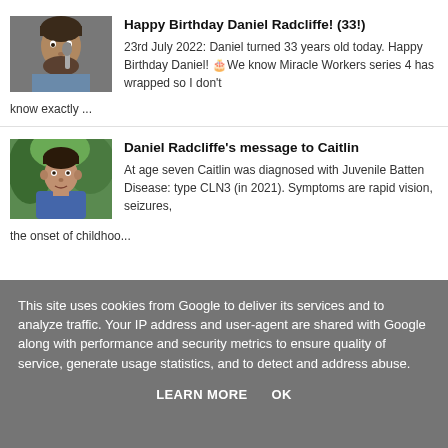[Figure (photo): Photo of Daniel Radcliffe at a microphone, dark background, bearded man in gray shirt]
Happy Birthday Daniel Radcliffe! (33!)
23rd July 2022: Daniel turned 33 years old today. Happy Birthday Daniel! 🎂We know Miracle Workers series 4 has wrapped so I don't know exactly ...
[Figure (photo): Photo of Daniel Radcliffe standing outdoors in front of green hedges, wearing a blue t-shirt]
Daniel Radcliffe's message to Caitlin
At age seven Caitlin was diagnosed with Juvenile Batten Disease: type CLN3 (in 2021). Symptoms are rapid vision, seizures, the onset of childhoo...
This site uses cookies from Google to deliver its services and to analyze traffic. Your IP address and user-agent are shared with Google along with performance and security metrics to ensure quality of service, generate usage statistics, and to detect and address abuse.
LEARN MORE
OK